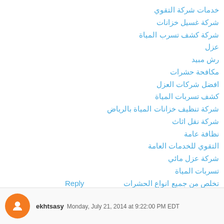خدمات شركة التقوي
شركة غسيل خزانات
شركة كشف تسرب المياة
عزل
رش مبيد
مكافحة حشرات
افضل شركات العزل
كشف تسربات المياة
شركة تنظيف خزانات المياة بالرياض
شركة نقل اثاث
نظافة عامة
التقوي للخدمات العامة
شركة عزل مائي
تسربات المياة
تخلص من جميع انواع الحشرات
عزل مائي وحراري
كشف تسرب المياة
Reply
ekhtsasy  Monday, July 21, 2014 at 9:22:00 PM EDT